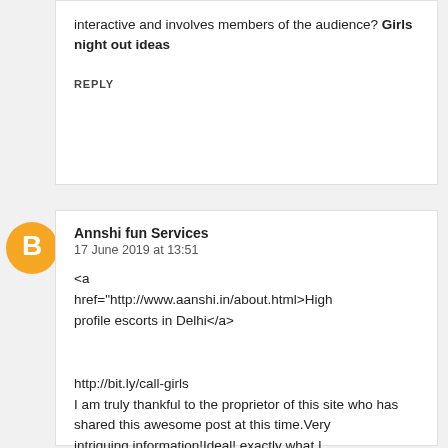interactive and involves members of the audience? Girls night out ideas
REPLY
[Figure (logo): Orange Blogger avatar circle with white 'B' icon]
Annshi fun Services
17 June 2019 at 13:51
<a href="http://www.aanshi.in/about.html>High profile escorts in Delhi</a>


http://bit.ly/call-girls
I am truly thankful to the proprietor of this site who has
shared this awesome post at this time.Very intriguing information!Ideal! exactly what I was attempting to discover!
REPLY